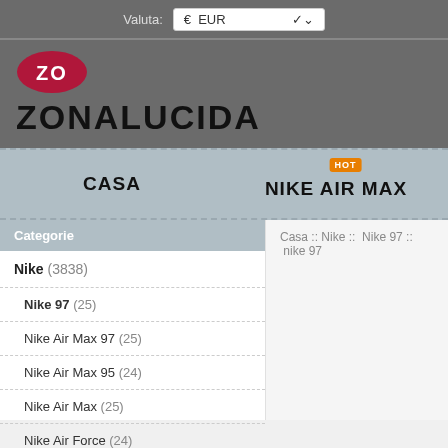Valuta: € EUR
[Figure (logo): ZO oval logo in crimson red with white text, above ZONALUCIDA wordmark in black on dark grey background]
CASA   NIKE AIR MAX (HOT)
Casa :: Nike :: Nike 97 :: nike 97
Categorie
Nike (3838)
Nike 97 (25)
Nike Air Max 97 (25)
Nike Air Max 95 (24)
Nike Air Max (25)
Nike Air Force (24)